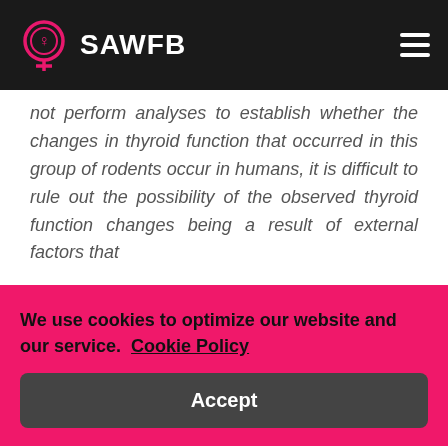SAWFB
not perform analyses to establish whether the changes in thyroid function that occurred in this group of rodents occur in humans, it is difficult to rule out the possibility of the observed thyroid function changes being a result of external factors that
We use cookies to optimize our website and our service.  Cookie Policy
Accept
thyroid hormone responses